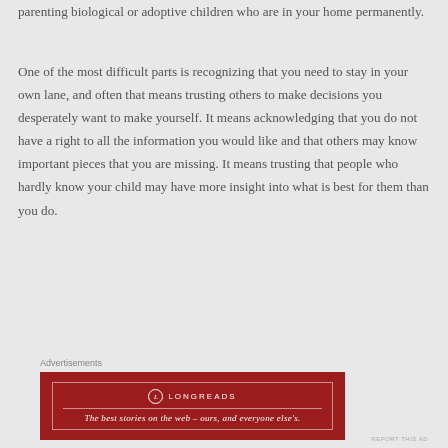parenting biological or adoptive children who are in your home permanently.
One of the most difficult parts is recognizing that you need to stay in your own lane, and often that means trusting others to make decisions you desperately want to make yourself. It means acknowledging that you do not have a right to all the information you would like and that others may know important pieces that you are missing. It means trusting that people who hardly know your child may have more insight into what is best for them than you do.
[Figure (other): Longreads advertisement banner with dark red background. Logo with circle L icon and LONGREADS text, tagline: The best stories on the web — ours, and everyone else's.]